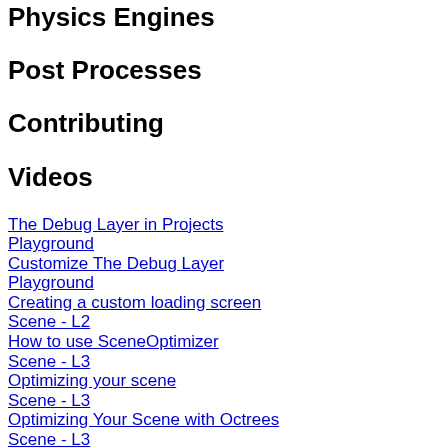Physics Engines
Post Processes
Contributing
Videos
The Debug Layer in Projects
Playground
Customize The Debug Layer
Playground
Creating a custom loading screen
Scene - L2
How to use SceneOptimizer
Scene - L3
Optimizing your scene
Scene - L3
Optimizing Your Scene with Octrees
Scene - L3
Optimizing with Cached Resources
Scene - L3
Render Scene on a PNG
Scene - L3
Polyhedra